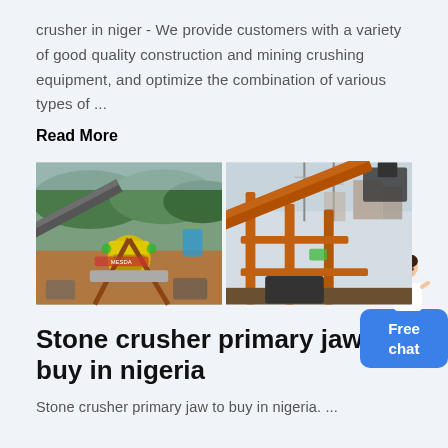crusher in niger - We provide customers with a variety of good quality construction and mining crushing equipment, and optimize the combination of various types of ...
Read More
[Figure (photo): Two side-by-side photos of mining/stone crushing equipment and facilities outdoors.]
Stone crusher primary jaw to buy in nigeria
Stone crusher primary jaw to buy in nigeria. ...